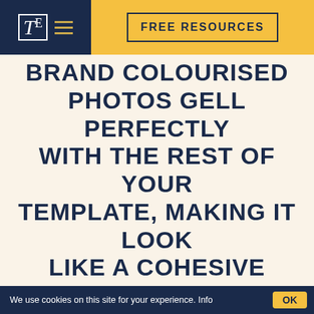[Figure (logo): Logo with stylized T letter in white on dark navy background, with three horizontal gold lines (hamburger menu icon)]
FREE RESOURCES
BRAND COLOURISED PHOTOS GELL PERFECTLY WITH THE REST OF YOUR TEMPLATE, MAKING IT LOOK LIKE A COHESIVE PIECE.
THEY PROVIDE AN EXTRA LEVEL OF POLISH, TO MAKE YOUR WEBSITE STAND OUT FROM THE COMPETITION.
We use cookies on this site for your experience. Info  OK